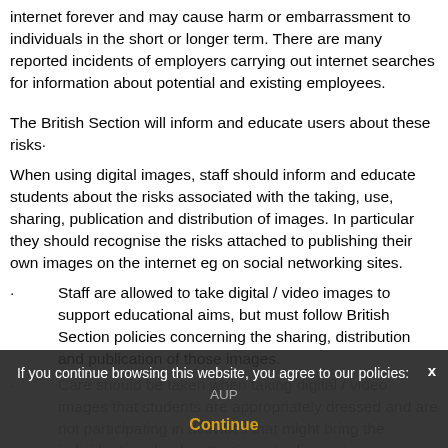images on the internet. These images may remain available on the internet forever and may cause harm or embarrassment to individuals in the short or longer term. There are many reported incidents of employers carrying out internet searches for information about potential and existing employees.
The British Section will inform and educate users about these risks.
When using digital images, staff should inform and educate students about the risks associated with the taking, use, sharing, publication and distribution of images. In particular they should recognise the risks attached to publishing their own images on the internet eg on social networking sites.
Staff are allowed to take digital / video images to support educational aims, but must follow British Section policies concerning the sharing, distribution and publication of those images.
Care should be taken when taking digital / video images that students are appropriately dressed and are not participating in activities that might bring the individuals, school or Section into disrepute.
Students must not take, capture, publish or distribute
If you continue browsing this website, you agree to our policies: AUP Continue